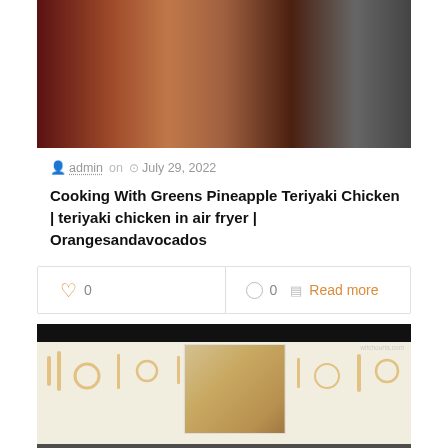[Figure (photo): Top portion of a cooking video thumbnail showing a person in a kitchen setting, partially visible]
admin on  July 29, 2022
Cooking With Greens Pineapple Teriyaki Chicken | teriyaki chicken in air fryer | Orangesandavocados
♡ 0   ○ 0  ▤ Read more
[Figure (photo): Thumbnail for Zesty Tilapia with Mushrooms recipe post, showing food photography with cooking utensil pattern background and white bold text overlay]